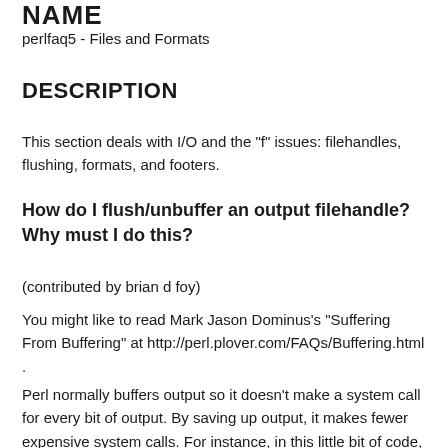NAME
perlfaq5 - Files and Formats
DESCRIPTION
This section deals with I/O and the "f" issues: filehandles, flushing, formats, and footers.
How do I flush/unbuffer an output filehandle? Why must I do this?
(contributed by brian d foy)
You might like to read Mark Jason Dominus's "Suffering From Buffering" at http://perl.plover.com/FAQs/Buffering.html .
Perl normally buffers output so it doesn't make a system call for every bit of output. By saving up output, it makes fewer expensive system calls. For instance, in this little bit of code, you want to print a dot to the screen for